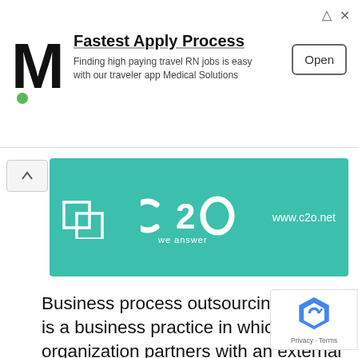[Figure (screenshot): Advertisement banner with large M logo for Medical Solutions, showing 'Fastest Apply Process' headline, subtitle text, and an Open button]
[Figure (logo): C2o teal brand banner with c2o logo, 'we answer' tagline, and www.c2o.net URL, with small square icon on left]
Business process outsourcing (BPO) is a business practice in which an organization partners with an external service provider to perform an essential business task. Organizations can outsource call centre services or an entire department such as the HR department, Customer Service, Accounting to an external service provider. When outsourcing, the company will not have to ... Read more